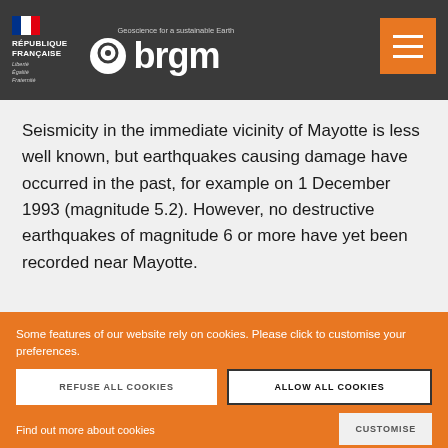[Figure (logo): BRGM website header with République Française logo, BRGM logo with tagline 'Geoscience for a sustainable Earth', and hamburger menu button on dark grey background]
Seismicity in the immediate vicinity of Mayotte is less well known, but earthquakes causing damage have occurred in the past, for example on 1 December 1993 (magnitude 5.2). However, no destructive earthquakes of magnitude 6 or more have yet been recorded near Mayotte.
Some features of our website rely on cookies. Please click to customise your preferences.
Find out more about cookies